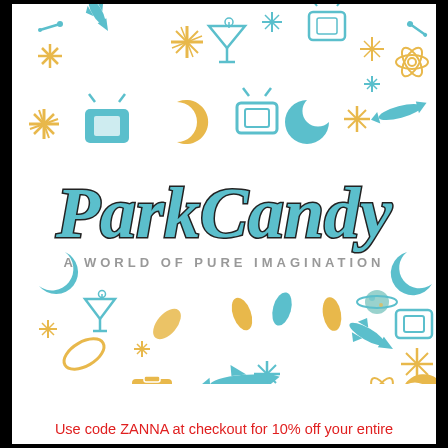[Figure (logo): Park Candy logo with mid-century modern retro pattern background featuring teal and golden yellow atomic age icons: stars, moons, rockets, TVs, martini glasses, atoms, boomerangs. Large script logotype reads 'Park Candy' with tagline 'A WORLD OF PURE IMAGINATION']
Use code ZANNA at checkout for 10% off your entire